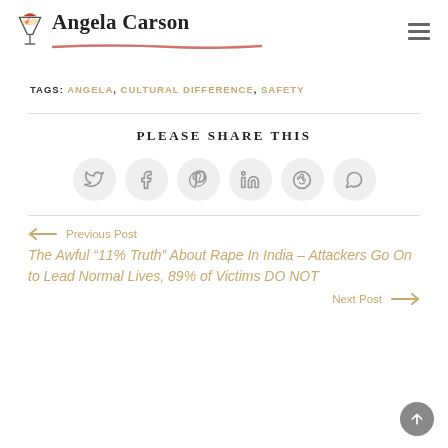Angela Carson
TAGS: ANGELA, CULTURAL DIFFERENCE, SAFETY
PLEASE SHARE THIS
[Figure (infographic): Social share icons: Twitter, Facebook, Pinterest, LinkedIn, Reddit, WhatsApp — each in a light grey circle]
← Previous Post
The Awful "11% Truth" About Rape In India – Attackers Go On to Lead Normal Lives, 89% of Victims DO NOT
Next Post →